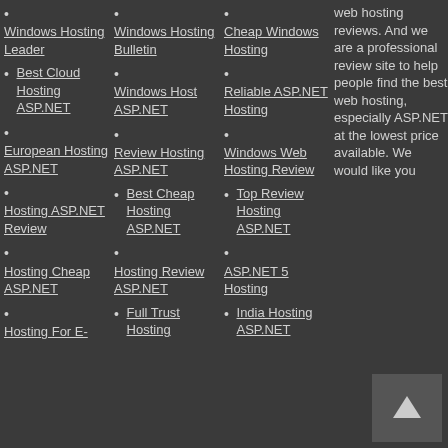Windows Hosting Leader
Best Cloud Hosting ASP.NET
European Hosting ASP.NET
Hosting ASP.NET Review
Hosting Cheap ASP.NET
Hosting For E-
Windows Hosting Bulletin
Windows Host ASP.NET
Review Hosting ASP.NET
Best Cheap Hosting ASP.NET
Hosting Review ASP.NET
Full Trust Hosting
Cheap Windows Hosting
Reliable ASP.NET Hosting
Windows Web Hosting Review
Top Review Hosting ASP.NET
ASP.NET 5 Hosting
India Hosting ASP.NET
web hosting reviews. And we are a professional review site to help people find the best web hosting, especially ASP.NET at the lowest price available. We would like you